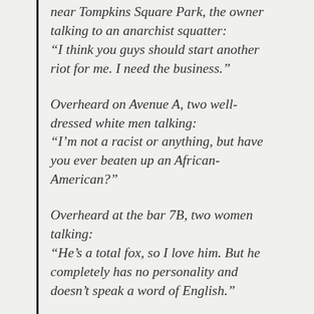near Tompkins Square Park, the owner talking to an anarchist squatter: “I think you guys should start another riot for me. I need the business.”
Overheard on Avenue A, two well-dressed white men talking: “I’m not a racist or anything, but have you ever beaten up an African-American?”
Overheard at the bar 7B, two women talking: “He’s a total fox, so I love him. But he completely has no personality and doesn’t speak a word of English.”